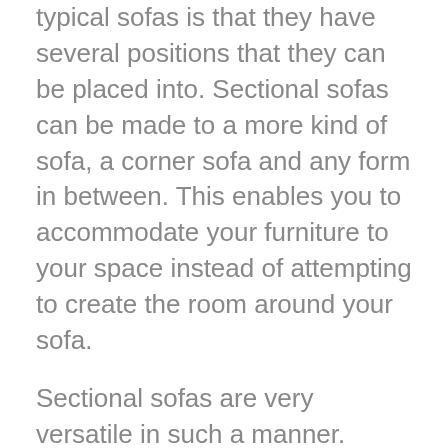typical sofas is that they have several positions that they can be placed into. Sectional sofas can be made to a more kind of sofa, a corner sofa and any form in between. This enables you to accommodate your furniture to your space instead of attempting to create the room around your sofa.
Sectional sofas are very versatile in such a manner. Another excellent benefit of segmented sofas over regular sofas is that they can easily be adapted to fill empty space. When you've got a huge living room, a sectional can be manipulated to fill up the space much simpler than a typical sofa.
With a normal couch or sofa, what you see is normally what you're getting. There is not any adjusting the dimensions of this couch visually. With a sectional sofa, you have the ability to at least visually change the amount of space the sofa occupies by placing it into different positions...